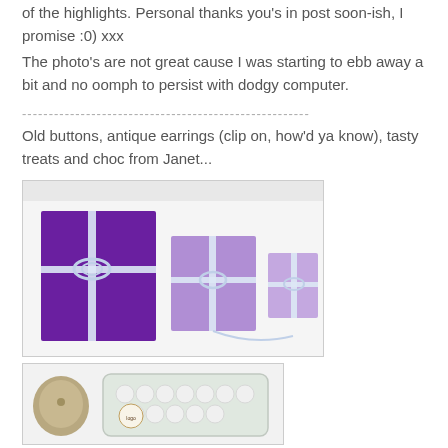of the highlights. Personal thanks you's in post soon-ish, I promise :0) xxx
The photo's are not great cause I was starting to ebb away a bit and no oomph to persist with dodgy computer.
------------------------------------------------------
Old buttons, antique earrings (clip on, how'd ya know), tasty treats and choc from Janet...
[Figure (photo): Three purple-wrapped gift packages tied with white ribbon, arranged on a white background. One large dark purple package on the left, one medium lavender package in the center, and one smaller lavender package on the right.]
[Figure (photo): Close-up of old buttons and a small plastic container with round white items (possibly mints or chocolates) labeled 'elements of...' with a decorative logo.]